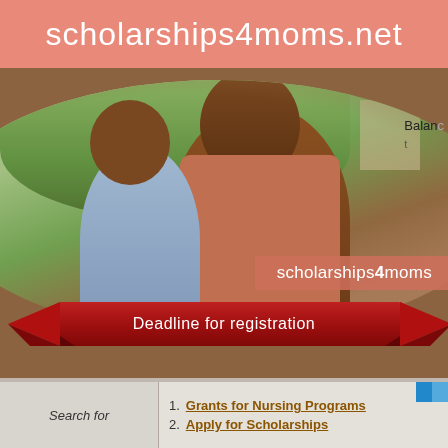scholarships4moms.net
[Figure (photo): Website screenshot showing scholarships4moms.net header, a hero image of a smiling mother being kissed on the cheek by a young child outdoors, with a red ribbon banner reading 'Deadline for registration', and a scholarships4moms brand overlay]
Deadline for registration
Search for
1. Grants for Nursing Programs
2. Apply for Scholarships